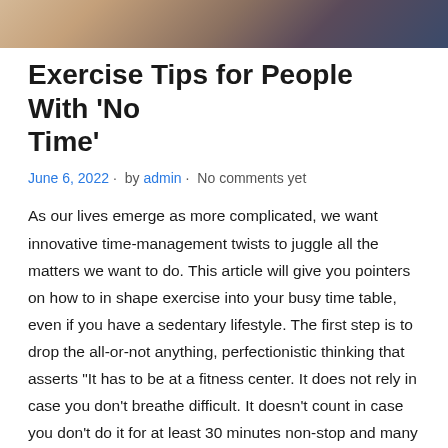[Figure (photo): Partial photo strip at top of page showing a person, cropped]
Exercise Tips for People With ‘No Time’
June 6, 2022 · by admin · No comments yet
As our lives emerge as more complicated, we want innovative time-management twists to juggle all the matters we want to do. This article will give you pointers on how to in shape exercise into your busy time table, even if you have a sedentary lifestyle. The first step is to drop the all-or-not anything, perfectionistic thinking that asserts "It has to be at a fitness center. It does not rely in case you don’t breathe difficult. It doesn’t count in case you don’t do it for at least 30 minutes non-stop and many others. Any bodily interest is extra beneficial than NO physical activity.